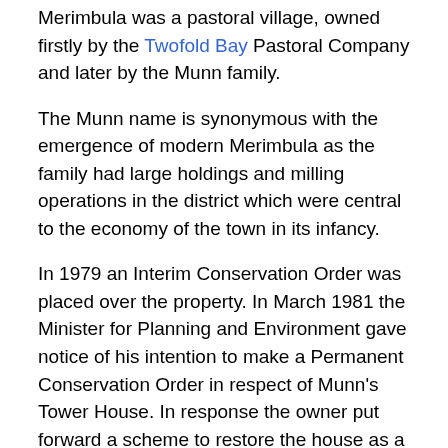Merimbula was a pastoral village, owned firstly by the Twofold Bay Pastoral Company and later by the Munn family.
The Munn name is synonymous with the emergence of modern Merimbula as the family had large holdings and milling operations in the district which were central to the economy of the town in its infancy.
In 1979 an Interim Conservation Order was placed over the property. In March 1981 the Minister for Planning and Environment gave notice of his intention to make a Permanent Conservation Order in respect of Munn's Tower House. In response the owner put forward a scheme to restore the house as a residence and use the surrounding land for the construction of 25 home units. After variations were made to the scheme to meet comments from the Heritage Council the application was